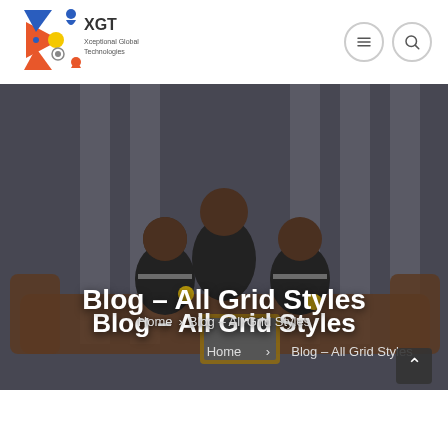[Figure (logo): XGT Xceptional Global Technologies logo with colorful star/people icon and text]
[Figure (photo): Three young men in XGT branded dark polo shirts sitting on a leather sofa, looking at a tablet/laptop together. Black and white background with large windows. Hero banner image.]
Blog – All Grid Styles
Home > Blog – All Grid Styles